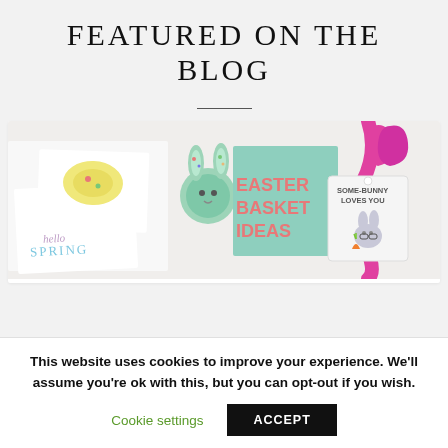FEATURED ON THE BLOG
[Figure (photo): Easter basket ideas blog post thumbnail showing crafts including a 'hello SPRING' card, Easter bunny pom-pom, a teal card with coral text reading 'EASTER BASKET IDEAS', and a gift tag shaped like a bunny reading 'SOME-BUNNY LOVES YOU' with a pink ribbon]
This website uses cookies to improve your experience. We'll assume you're ok with this, but you can opt-out if you wish.
Cookie settings  ACCEPT